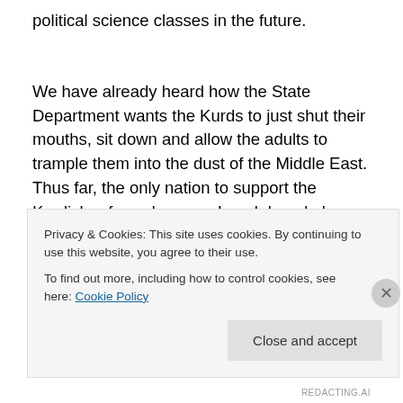political science classes in the future.
We have already heard how the State Department wants the Kurds to just shut their mouths, sit down and allow the adults to trample them into the dust of the Middle East. Thus far, the only nation to support the Kurdish referendum was Israel. Israel also has strong and good relations with the Syrian faction of the Kurds. The Kurds were the fighters who stopped ISIS, back when Islamic State was ISIS, in the battle for Kobane where the Kurds
Privacy & Cookies: This site uses cookies. By continuing to use this website, you agree to their use.
To find out more, including how to control cookies, see here: Cookie Policy
Close and accept